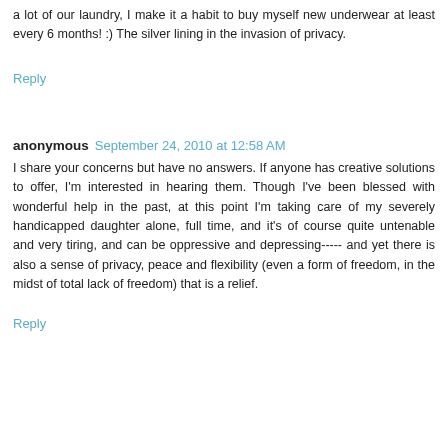a lot of our laundry, I make it a habit to buy myself new underwear at least every 6 months! :) The silver lining in the invasion of privacy.
Reply
anonymous  September 24, 2010 at 12:58 AM
I share your concerns but have no answers. If anyone has creative solutions to offer, I'm interested in hearing them. Though I've been blessed with wonderful help in the past, at this point I'm taking care of my severely handicapped daughter alone, full time, and it's of course quite untenable and very tiring, and can be oppressive and depressing----- and yet there is also a sense of privacy, peace and flexibility (even a form of freedom, in the midst of total lack of freedom) that is a relief.
Reply